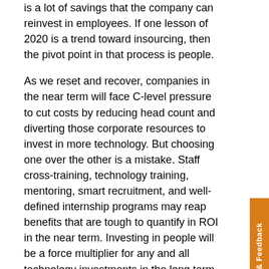is a lot of savings that the company can reinvest in employees. If one lesson of 2020 is a trend toward insourcing, then the pivot point in that process is people.
As we reset and recover, companies in the near term will face C-level pressure to cut costs by reducing head count and diverting those corporate resources to invest in more technology. But choosing one over the other is a mistake. Staff cross-training, technology training, mentoring, smart recruitment, and well-defined internship programs may reap benefits that are tough to quantify in ROI in the near term. Investing in people will be a force multiplier for any and all technology investments in the long term.
One more reminder during COVID-19 times: Enterprise leaders must take the long view wherever possible. Continue to invest in those transformative technologies